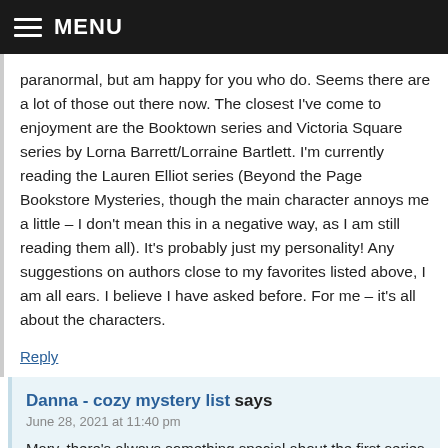MENU
paranormal, but am happy for you who do. Seems there are a lot of those out there now. The closest I've come to enjoyment are the Booktown series and Victoria Square series by Lorna Barrett/Lorraine Bartlett. I'm currently reading the Lauren Elliot series (Beyond the Page Bookstore Mysteries, though the main character annoys me a little – I don't mean this in a negative way, as I am still reading them all). It's probably just my personality! Any suggestions on authors close to my favorites listed above, I am all ears. I believe I have asked before. For me – it's all about the characters.
Reply
Danna - cozy mystery list says
June 28, 2021 at 11:40 pm
Mary, there's always something special about the first series you fall in love with! As is often the case for me, I'd